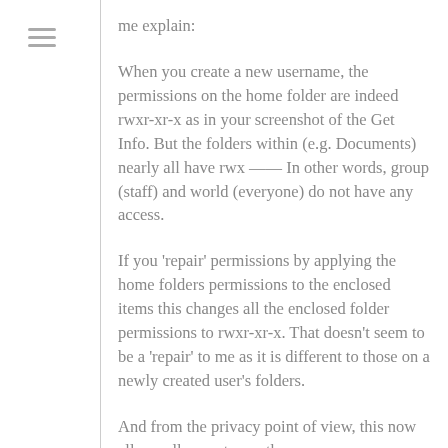me explain:
When you create a new username, the permissions on the home folder are indeed rwxr-xr-x as in your screenshot of the Get Info. But the folders within (e.g. Documents) nearly all have rwx —— In other words, group (staff) and world (everyone) do not have any access.
If you 'repair' permissions by applying the home folders permissions to the enclosed items this changes all the enclosed folder permissions to rwxr-xr-x. That doesn't seem to be a 'repair' to me as it is different to those on a newly created user's folders.
And from the privacy point of view, this now allows all users to see the contents of the top level user's fold